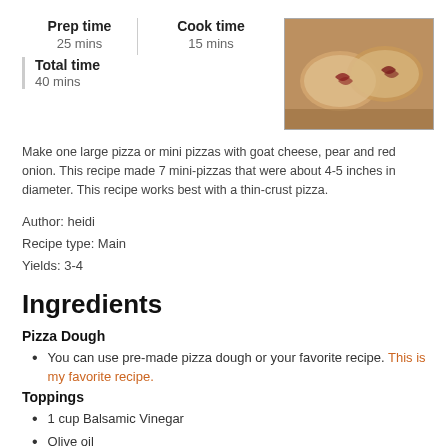Prep time
25 mins
Cook time
15 mins
Total time
40 mins
[Figure (photo): Mini pizzas with caramelized red onion on a wooden surface, viewed from above]
Make one large pizza or mini pizzas with goat cheese, pear and red onion. This recipe made 7 mini-pizzas that were about 4-5 inches in diameter. This recipe works best with a thin-crust pizza.
Author: heidi
Recipe type: Main
Yields: 3-4
Ingredients
Pizza Dough
You can use pre-made pizza dough or your favorite recipe. This is my favorite recipe.
Toppings
1 cup Balsamic Vinegar
Olive oil
Italian herbs: dried basil, oregano, rosemary, thyme